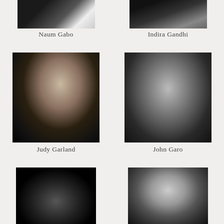[Figure (photo): Black and white portrait photo of Naum Gabo, partial/cropped at top]
Naum Gabo
[Figure (photo): Black and white portrait photo of Indira Gandhi, partial/cropped at top]
Indira Gandhi
[Figure (photo): Black and white portrait photo of Judy Garland, woman with hands raised to forehead, profile view]
Judy Garland
[Figure (photo): Black and white portrait photo of John Garo, man in dark robes seated reading a newspaper]
John Garo
[Figure (photo): Black and white photo of multiple hands reaching upward against dark background]
[Figure (photo): Black and white portrait photo of a man in dark suit, formal pose]